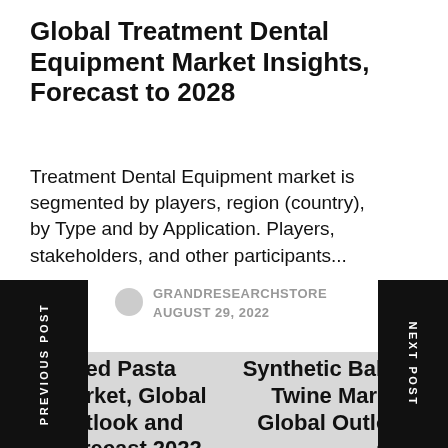Global Treatment Dental Equipment Market Insights, Forecast to 2028
Treatment Dental Equipment market is segmented by players, region (country), by Type and by Application. Players, stakeholders, and other participants...
GRANDRESEARCHSTORE
AUGUST 29, 2022
PREVIOUS POST
NEXT POST
Dried Pasta Market, Global Outlook and Forecast 2022-
Synthetic Baling Twine Market, Global Outlook and